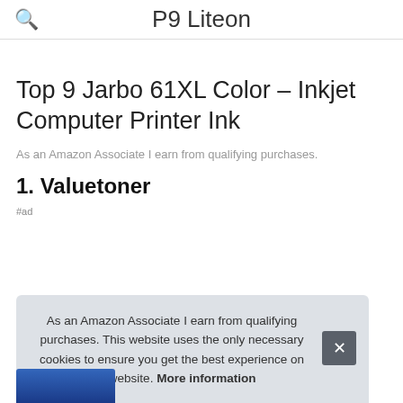P9 Liteon
Top 9 Jarbo 61XL Color – Inkjet Computer Printer Ink
As an Amazon Associate I earn from qualifying purchases.
1. Valuetoner
#ad
As an Amazon Associate I earn from qualifying purchases. This website uses the only necessary cookies to ensure you get the best experience on our website. More information